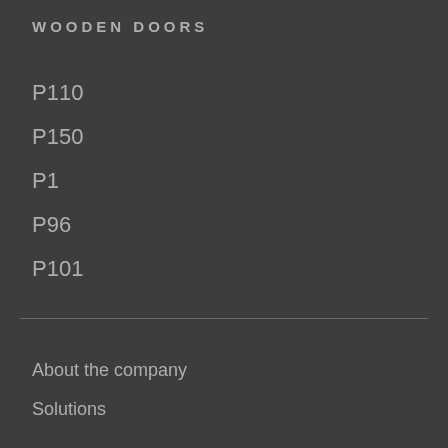WOODEN DOORS
P110
P150
P1
P96
P101
About the company
Solutions